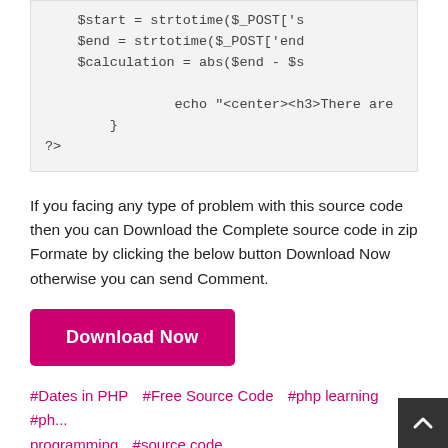[Figure (screenshot): Code block showing PHP snippet with $start = strtotime($_POST['s...], $end = strtotime($_POST['en...], $calculation = abs($end - $s..., echo "<center><h3>There are..., }, ?>]
If you facing any type of problem with this source code then you can Download the Complete source code in zip Formate by clicking the below button Download Now otherwise you can send Comment.
Download Now
#Dates in PHP  #Free Source Code  #php learning  #ph... programming  #source code